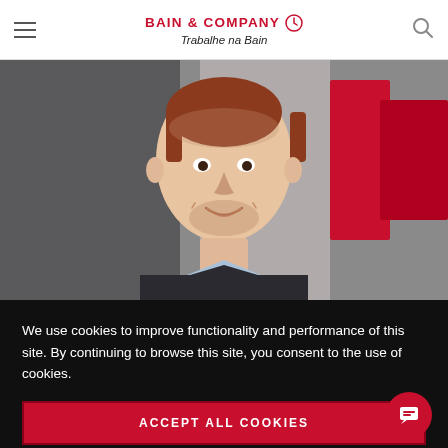BAIN & COMPANY — Trabalhe na Bain
[Figure (photo): Professional headshot of a young man with red hair, smiling, wearing a dark suit jacket and light blue shirt, against a blurred office background with red and gray elements.]
We use cookies to improve functionality and performance of this site. By continuing to browse this site, you consent to the use of cookies.
ACCEPT ALL COOKIES
Manage cookie settings ▶